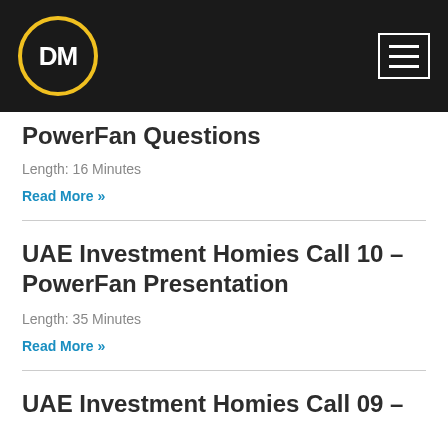DM (logo) navigation bar
PowerFan Questions
Length: 16 Minutes
Read More »
UAE Investment Homies Call 10 – PowerFan Presentation
Length: 35 Minutes
Read More »
UAE Investment Homies Call 09 –